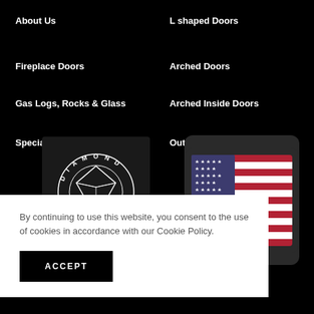About Us
L shaped Doors
Fireplace Doors
Arched Doors
Gas Logs, Rocks & Glass
Arched Inside Doors
Specialty Gates
Outdoor Fireplace Doors
[Figure (logo): Diamond logo with circular text reading DIAMOND and a geometric diamond/gem shape in the center, white on dark background]
[Figure (photo): American flag waving, displayed in a rounded dark gray frame/device]
By continuing to use this website, you consent to the use of cookies in accordance with our Cookie Policy.
ACCEPT